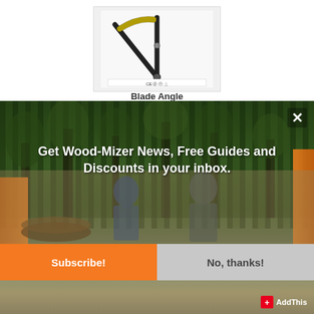[Figure (photo): Product photo of a blade angle measurement tool with yellow and black components, showing CE certification marks at the bottom]
Blade Angle
[Figure (photo): Modal popup overlay showing Wood-Mizer newsletter subscription prompt with background photo of people with a sawmill in a forest setting. Contains headline text, Subscribe! button, and No, thanks! button with an X close button in the top right. AddThis badge in bottom right.]